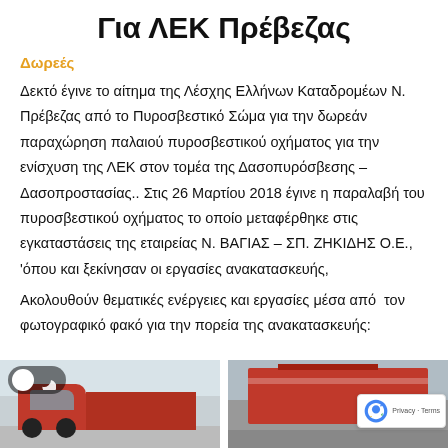Για ΛΕΚ Πρέβεζας
Δωρεές
Δεκτό έγινε το αίτημα της Λέσχης Ελλήνων Καταδρομέων Ν. Πρέβεζας από το Πυροσβεστικό Σώμα για την δωρεάν παραχώρηση παλαιού πυροσβεστικού οχήματος για την ενίσχυση της ΛΕΚ στον τομέα της Δασοπυρόσβεσης – Δασοπροστασίας.. Στις 26 Μαρτίου 2018 έγινε η παραλαβή του πυροσβεστικού οχήματος το οποίο μεταφέρθηκε στις εγκαταστάσεις της εταιρείας Ν. ΒΑΓΙΑΣ – ΣΠ. ΖΗΚΙΔΗΣ Ο.Ε., 'όπου και ξεκίνησαν οι εργασίες ανακατασκευής,
Ακολουθούν θεματικές ενέργειες και εργασίες μέσα από  τον φωτογραφικό φακό για την πορεία της ανακατασκευής:
[Figure (photo): Photo of a red fire truck being reconstructed, left image]
[Figure (photo): Photo of a red fire truck body/container, right image]